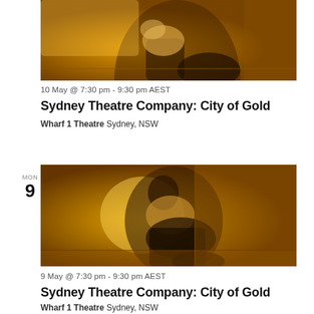[Figure (photo): Person sitting against a warm golden-amber wall, knees drawn up, wearing a white shirt and dark pants, partially cropped at top]
10 May @ 7:30 pm - 9:30 pm AEST
Sydney Theatre Company: City of Gold
Wharf 1 Theatre Sydney, NSW
MON
9
[Figure (photo): Person sitting against a warm golden-amber wall, knees drawn up, wearing a white shirt and dark pants, looking downward]
9 May @ 7:30 pm - 9:30 pm AEST
Sydney Theatre Company: City of Gold
Wharf 1 Theatre Sydney, NSW